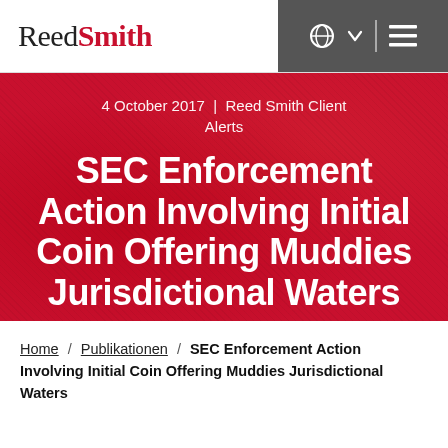Reed Smith
4 October 2017 | Reed Smith Client Alerts
SEC Enforcement Action Involving Initial Coin Offering Muddies Jurisdictional Waters
Home / Publikationen / SEC Enforcement Action Involving Initial Coin Offering Muddies Jurisdictional Waters